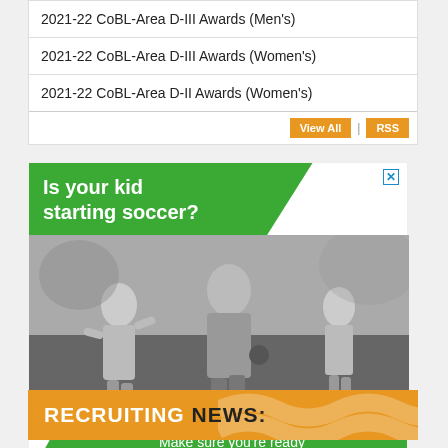2021-22 CoBL-Area D-III Awards (Men's)
2021-22 CoBL-Area D-III Awards (Women's)
2021-22 CoBL-Area D-II Awards (Women's)
View All | RSS
[Figure (photo): Advertisement showing children playing soccer. Green banner at top reads 'Is your kid starting soccer?' with a close button. Black and white photo of kids running in soccer gear. Green banner at bottom reads 'Make sure you’re ready for their first match >>>']
RECRUITING NEWS: